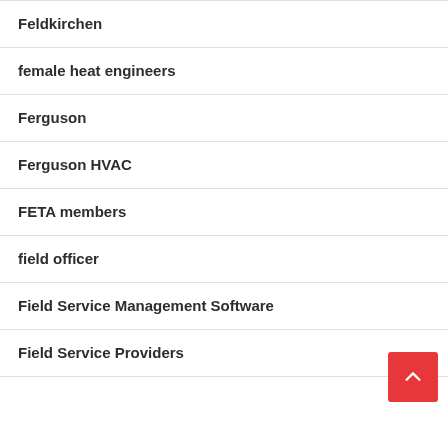Feldkirchen
female heat engineers
Ferguson
Ferguson HVAC
FETA members
field officer
Field Service Management Software
Field Service Providers